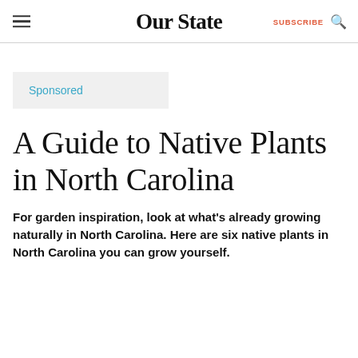Our State  SUBSCRIBE
Sponsored
A Guide to Native Plants in North Carolina
For garden inspiration, look at what's already growing naturally in North Carolina. Here are six native plants in North Carolina you can grow yourself.